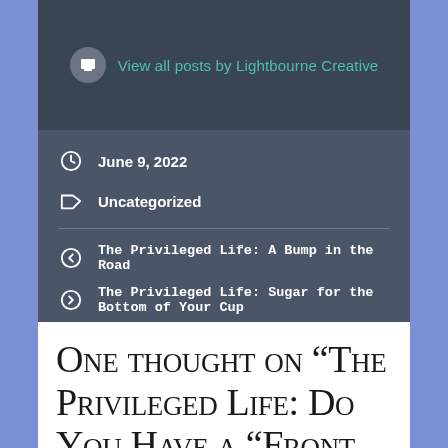View all posts by Lightbourne Creative
June 9, 2022
Uncategorized
The Privileged Life: A Bump in the Road
The Privileged Life: Sugar for the Bottom of Your Cup
One thought on “The Privileged Life: Do You Have a “Front Porch”?”